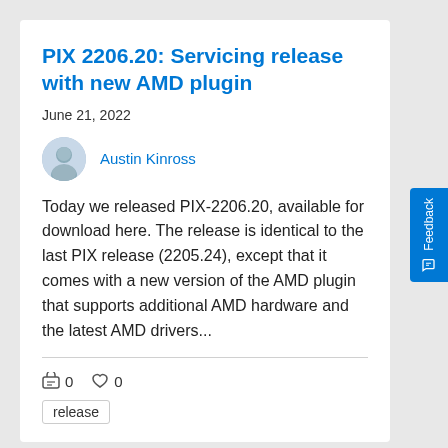PIX 2206.20: Servicing release with new AMD plugin
June 21, 2022
Austin Kinross
Today we released PIX-2206.20, available for download here. The release is identical to the last PIX release (2205.24), except that it comes with a new version of the AMD plugin that supports additional AMD hardware and the latest AMD drivers...
0  0
release